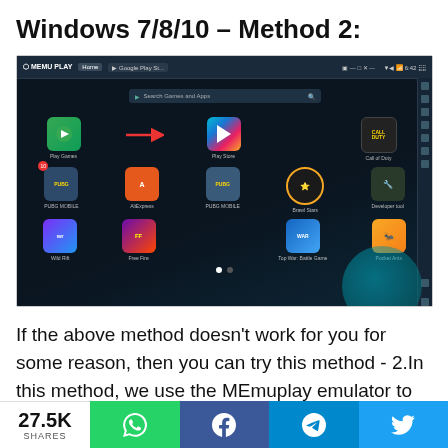Windows 7/8/10 – Method 2:
[Figure (screenshot): MEmu Play Android emulator screenshot showing the home screen with app icons including Play Games, Play Store, Call of Duty, PUBG Mobile, AliExpress, Brawl Stars, Developer tool, Wild Rift, Free Fire, Top War Battle Game, Pocket Ants. A red arrow points from Play Games toward Play Store.]
If the above method doesn't work for you for some reason, then you can try this method - 2.In this method, we use the MEmuplay emulator to install Guide for FF FIRE and get
27.5K SHARES